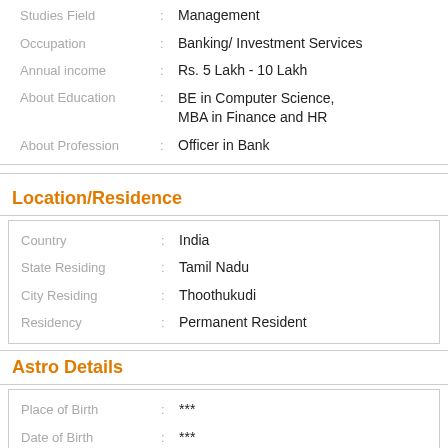| Field | Value |
| --- | --- |
| Studies Field | Management |
| Occupation | Banking/ Investment Services |
| Annual income | Rs. 5 Lakh - 10 Lakh |
| About Education | BE in Computer Science, MBA in Finance and HR |
| About Profession | Officer in Bank |
Location/Residence
| Field | Value |
| --- | --- |
| Country | India |
| State Residing | Tamil Nadu |
| City Residing | Thoothukudi |
| Residency | Permanent Resident |
Astro Details
| Field | Value |
| --- | --- |
| Place of Birth | *** |
| Date of Birth | *** |
| Time of Birth | *** |
| Country Of Birth | India |
| Manglik | No |